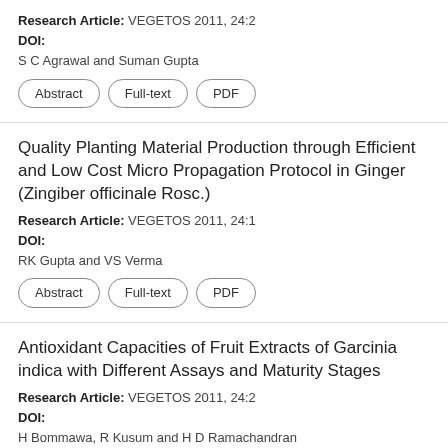Research Article: VEGETOS 2011, 24:2
DOI:
S C Agrawal and Suman Gupta
Quality Planting Material Production through Efficient and Low Cost Micro Propagation Protocol in Ginger (Zingiber officinale Rosc.)
Research Article: VEGETOS 2011, 24:1
DOI:
RK Gupta and VS Verma
Antioxidant Capacities of Fruit Extracts of Garcinia indica with Different Assays and Maturity Stages
Research Article: VEGETOS 2011, 24:2
DOI:
H Bommawa, R Kusum and H D Ramachandran